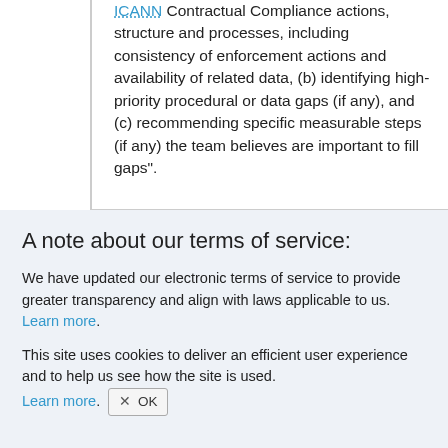ICANN Contractual Compliance actions, structure and processes, including consistency of enforcement actions and availability of related data, (b) identifying high-priority procedural or data gaps (if any), and (c) recommending specific measurable steps (if any) the team believes are important to fill gaps".
A note about our terms of service:
We have updated our electronic terms of service to provide greater transparency and align with laws applicable to us. Learn more.
This site uses cookies to deliver an efficient user experience and to help us see how the site is used. Learn more. OK